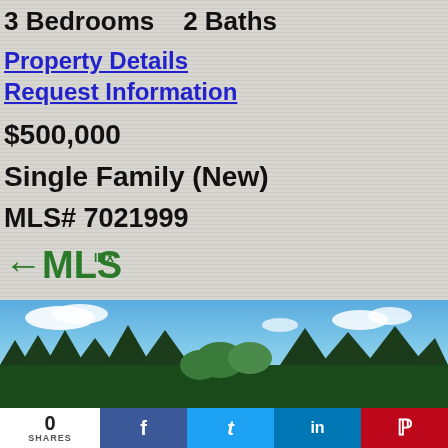3 Bedrooms   2 Baths
Property Details
Request Information
$500,000
Single Family (New)
MLS# 7021999
[Figure (logo): FMLS IDX logo in green]
[Figure (photo): Outdoor landscape photo showing blue sky with white clouds and green trees in the background]
0
SHARES